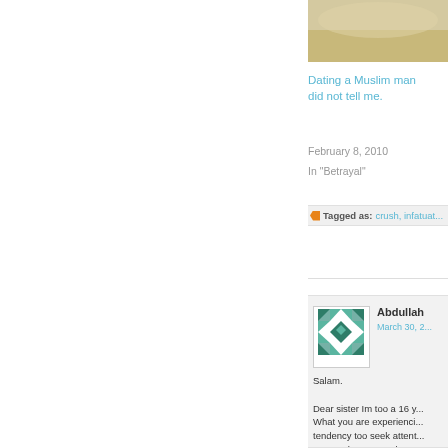[Figure (photo): Partial image visible at top right, beige/gold tones]
Dating a Muslim man did not tell me.
February 8, 2010
In "Betrayal"
Tagged as: crush, infatuat...
[Figure (illustration): Geometric quilt-pattern avatar in teal/dark green]
Abdullah
March 30, 2...
Salam.

Dear sister Im too a 16 y... What you are experienci... tendency too seek attent... But you have to understa...